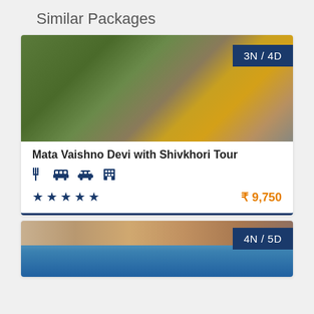Similar Packages
[Figure (photo): Aerial view of Mata Vaishno Devi temple complex in mountains with a yellow cable car gondola, showing green forested hillside and white temple structures]
Mata Vaishno Devi with Shivkhori Tour
Amenity icons: food, bus, car, hotel. 5 stars. Price: ₹ 9,750
[Figure (photo): Scenic view of Pangong Lake in Ladakh with blue water and brown mountains in background, sky visible at top]